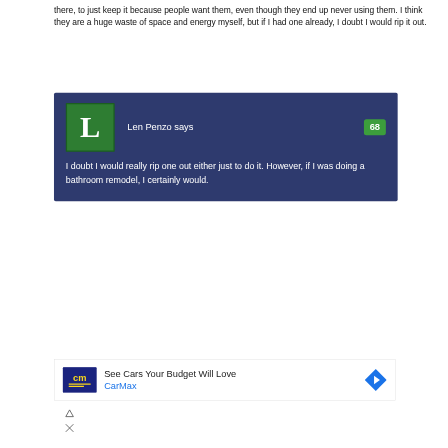there, to just keep it because people want them, even though they end up never using them. I think they are a huge waste of space and energy myself, but if I had one already, I doubt I would rip it out.
Len Penzo says
I doubt I would really rip one out either just to do it. However, if I was doing a bathroom remodel, I certainly would.
[Figure (infographic): Advertisement for CarMax: See Cars Your Budget Will Love]